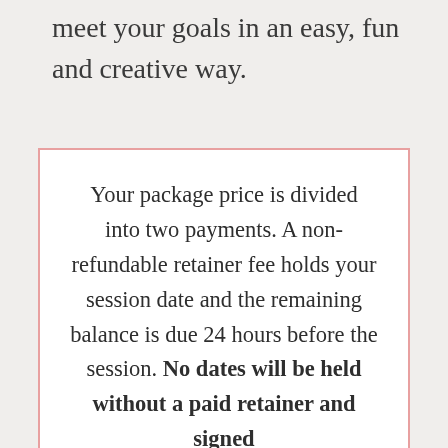meet your goals in an easy, fun and creative way.
Your package price is divided into two payments. A non-refundable retainer fee holds your session date and the remaining balance is due 24 hours before the session. No dates will be held without a paid retainer and signed